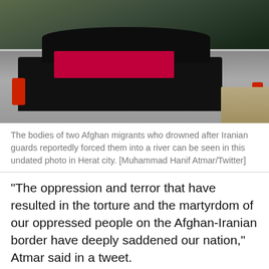[Figure (photo): Photo showing the backs of two Afghan migrants who drowned, seen in the trunk/boot of a dark SUV vehicle. A red item is visible. The vehicle's tail lights are visible. Background shows outdoor setting in Herat city.]
The bodies of two Afghan migrants who drowned after Iranian guards reportedly forced them into a river can be seen in this undated photo in Herat city. [Muhammad Hanif Atmar/Twitter]
"The oppression and terror that have resulted in the torture and the martyrdom of our oppressed people on the Afghan-Iranian border have deeply saddened our nation," Atmar said in a tweet.
"We assure our fellow Afghans that we will follow up on this unforgivable crime through all diplomatic channels until justice is ensured," he